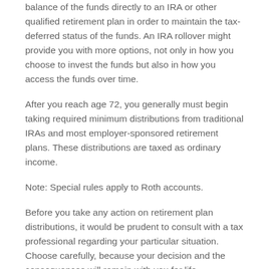balance of the funds directly to an IRA or other qualified retirement plan in order to maintain the tax-deferred status of the funds. An IRA rollover might provide you with more options, not only in how you choose to invest the funds but also in how you access the funds over time.
After you reach age 72, you generally must begin taking required minimum distributions from traditional IRAs and most employer-sponsored retirement plans. These distributions are taxed as ordinary income.
Note: Special rules apply to Roth accounts.
Before you take any action on retirement plan distributions, it would be prudent to consult with a tax professional regarding your particular situation. Choose carefully, because your decision and the consequences will remain with you for life.
*Annuity guarantees are subject to the financial